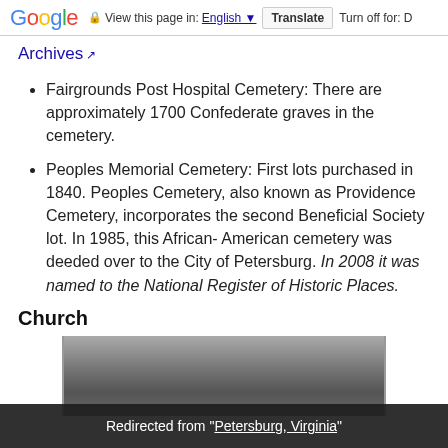Google — View this page in: English [▼] Translate | Turn off for: D
Archives ↗
Fairgrounds Post Hospital Cemetery: There are approximately 1700 Confederate graves in the cemetery.
Peoples Memorial Cemetery: First lots purchased in 1840. Peoples Cemetery, also known as Providence Cemetery, incorporates the second Beneficial Society lot. In 1985, this African- American cemetery was deeded over to the City of Petersburg. In 2008 it was named to the National Register of Historic Places.
Church
[Figure (photo): Black and white historical photograph, partially visible at bottom of page]
Redirected from "Petersburg, Virginia"